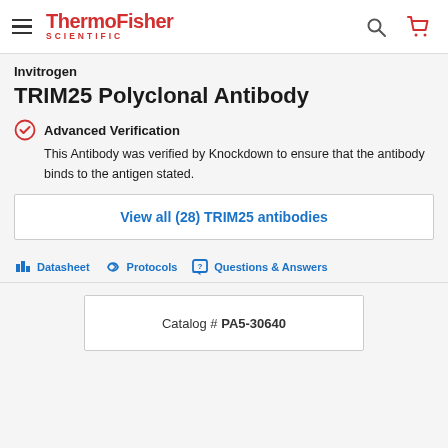ThermoFisher SCIENTIFIC
Invitrogen
TRIM25 Polyclonal Antibody
Advanced Verification
This Antibody was verified by Knockdown to ensure that the antibody binds to the antigen stated.
View all (28) TRIM25 antibodies
Datasheet   Protocols   Questions & Answers
Catalog # PA5-30640